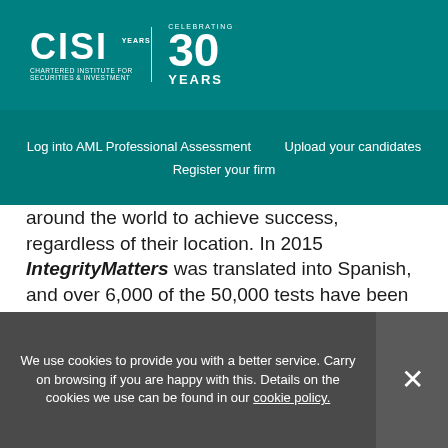[Figure (logo): CISI Chartered Institute for Securities & Investment - Celebrating 30 Years logo on teal background]
Log into AML Professional Assessment   Upload your candidates   Register your firm
around the world to achieve success, regardless of their location. In 2015 IntegrityMatters was translated into Spanish, and over 6,000 of the 50,000 tests have been completed by Spanish candidates in their native language.
"This milestone also reflects the significant cultural change made by many financial professionals following the financial crisis. Since the Institute formation in 1992, we
We use cookies to provide you with a better service. Carry on browsing if you are happy with this. Details on the cookies we use can be found in our cookie policy.